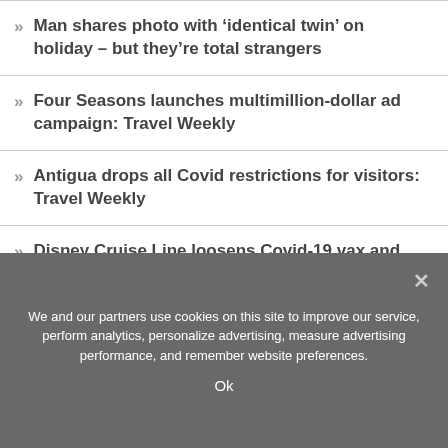Man shares photo with 'identical twin' on holiday – but they're total strangers
Four Seasons launches multimillion-dollar ad campaign: Travel Weekly
Antigua drops all Covid restrictions for visitors: Travel Weekly
Disney Cruise Line loosens Covid-19 vax and testing requirements: Travel Weekly
We and our partners use cookies on this site to improve our service, perform analytics, personalize advertising, measure advertising performance, and remember website preferences.
Ok